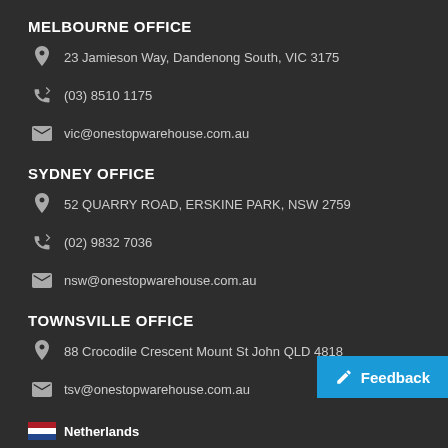MELBOURNE OFFICE
23 Jamieson Way, Dandenong South, VIC 3175
(03) 8510 1175
vic@onestopwarehouse.com.au
SYDNEY OFFICE
52 QUARRY ROAD, ERSKINE PARK, NSW 2759
(02) 9832 7036
nsw@onestopwarehouse.com.au
TOWNSVILLE OFFICE
88 Crocodile Crescent Mount St John QLD 4818
tsv@onestopwarehouse.com.au
Feedback
Netherlands